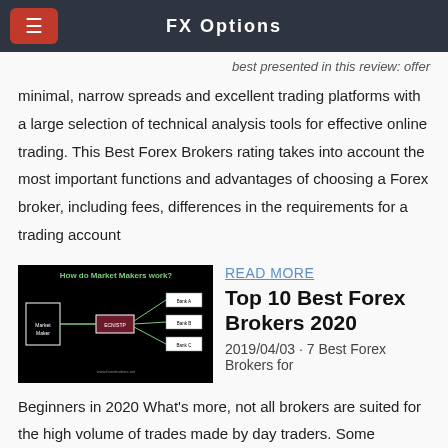FX Options
best presented in this review: offer minimal, narrow spreads and excellent trading platforms with a large selection of technical analysis tools for effective online trading. This Best Forex Brokers rating takes into account the most important functions and advantages of choosing a Forex broker, including fees, differences in the requirements for a trading account
[Figure (other): Dark diagram titled 'How do Market Makers work?' showing a flowchart with boxes and arrows on black background]
READ MORE
Top 10 Best Forex Brokers 2020
2019/04/03 · 7 Best Forex Brokers for Beginners in 2020 What's more, not all brokers are suited for the high volume of trades made by day traders. Some brokers, however, are designed with the day trader in mind. You can check out our list of the best brokers for day trading to see which brokers